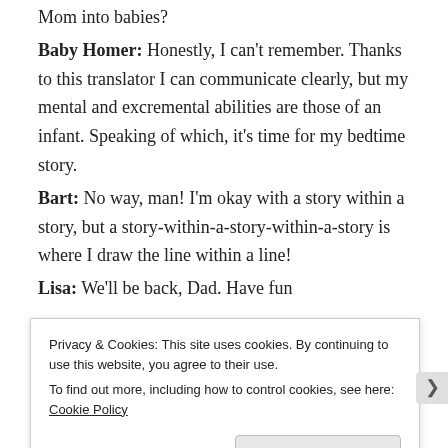Mom into babies?
Baby Homer: Honestly, I can't remember. Thanks to this translator I can communicate clearly, but my mental and excremental abilities are those of an infant. Speaking of which, it's time for my bedtime story.
Bart: No way, man! I'm okay with a story within a story, but a story-within-a-story-within-a-story is where I draw the line within a line!
Lisa: We'll be back, Dad. Have fun careening around town in your
Privacy & Cookies: This site uses cookies. By continuing to use this website, you agree to their use. To find out more, including how to control cookies, see here: Cookie Policy
Close and accept